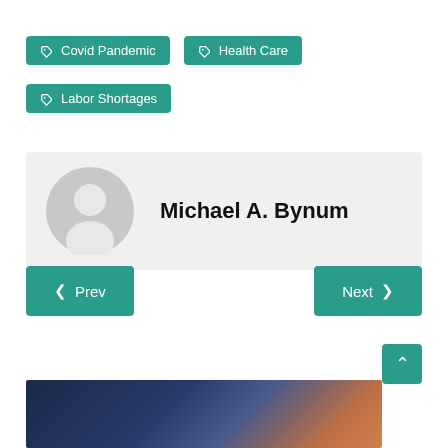Covid Pandemic
Health Care
Labor Shortages
Michael A. Bynum
< Prev
Next >
[Figure (photo): Blurred road/highway photo at bottom of page]